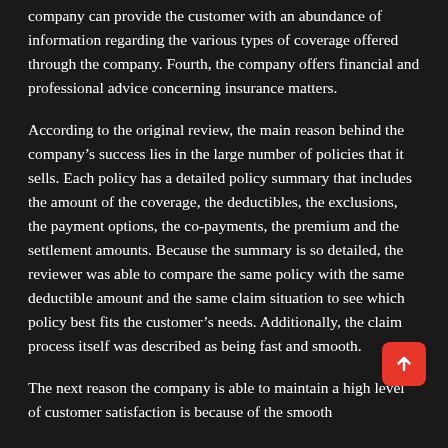company can provide the customer with an abundance of information regarding the various types of coverage offered through the company. Fourth, the company offers financial and professional advice concerning insurance matters.
According to the original review, the main reason behind the company's success lies in the large number of policies that it sells. Each policy has a detailed policy summary that includes the amount of the coverage, the deductibles, the exclusions, the payment options, the co-payments, the premium and the settlement amounts. Because the summary is so detailed, the reviewer was able to compare the same policy with the same deductible amount and the same claim situation to see which policy best fits the customer's needs. Additionally, the claim process itself was described as being fast and smooth.
The next reason the company is able to maintain a high level of customer satisfaction is because of the smooth...